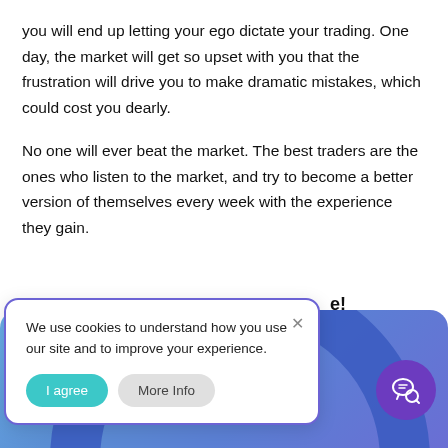you will end up letting your ego dictate your trading. One day, the market will get so upset with you that the frustration will drive you to make dramatic mistakes, which could cost you dearly.
No one will ever beat the market. The best traders are the ones who listen to the market, and try to become a better version of themselves every week with the experience they gain.
[Figure (screenshot): Cookie consent popup overlay on a blue/purple gradient banner background with a dark circle decoration and a purple chat/search icon button in the bottom right.]